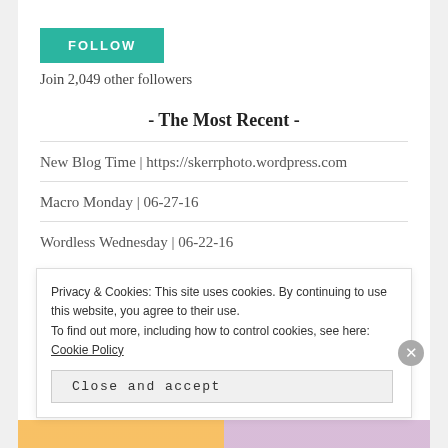[Figure (other): Teal FOLLOW button widget]
Join 2,049 other followers
- The Most Recent -
New Blog Time | https://skerrphoto.wordpress.com
Macro Monday | 06-27-16
Wordless Wednesday | 06-22-16
Privacy & Cookies: This site uses cookies. By continuing to use this website, you agree to their use. To find out more, including how to control cookies, see here: Cookie Policy
Close and accept